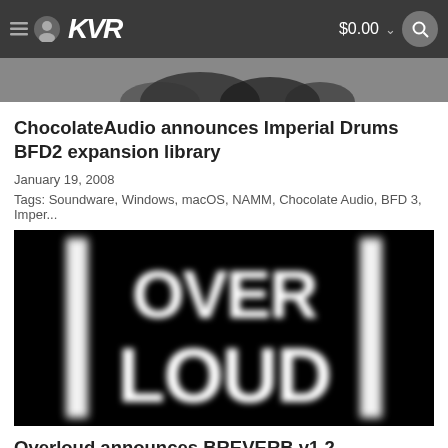KVR  $0.00
[Figure (screenshot): Top clipped article image showing partial dark silhouettes on grey background]
ChocolateAudio announces Imperial Drums BFD2 expansion library
January 19, 2008
Tags: Soundware, Windows, macOS, NAMM, Chocolate Audio, BFD 3, Imper...
[Figure (logo): Overloud logo — bold white text OVER on top, LOUD on bottom, on black background with white vertical bar accents on left and right]
Overloud announces BREVERB v1.2